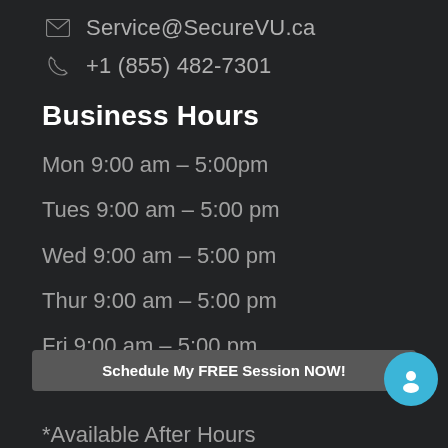Service@SecureVU.ca
+1 (855) 482-7301
Business Hours
Mon 9:00 am – 5:00pm
Tues 9:00 am – 5:00 pm
Wed 9:00 am – 5:00 pm
Thur 9:00 am – 5:00 pm
Fri 9:00 am – 5:00 pm
Sat- Sun Cl...
Schedule My FREE Session NOW!
*Available After Hours